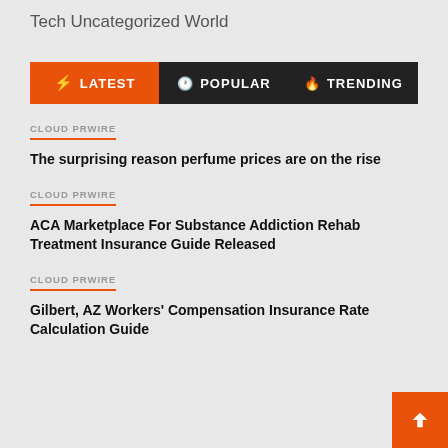Tech
Uncategorized
World
⚡ LATEST   🕐 POPULAR   🔥 TRENDING
CLOUD PRWIRE
The surprising reason perfume prices are on the rise
CLOUD PRWIRE
ACA Marketplace For Substance Addiction Rehab Treatment Insurance Guide Released
CLOUD PRWIRE
Gilbert, AZ Workers' Compensation Insurance Rate Calculation Guide